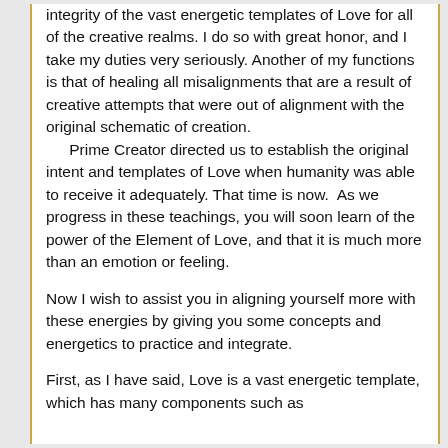integrity of the vast energetic templates of Love for all of the creative realms. I do so with great honor, and I take my duties very seriously. Another of my functions is that of healing all misalignments that are a result of creative attempts that were out of alignment with the original schematic of creation.
   Prime Creator directed us to establish the original intent and templates of Love when humanity was able to receive it adequately. That time is now.  As we progress in these teachings, you will soon learn of the power of the Element of Love, and that it is much more than an emotion or feeling.

Now I wish to assist you in aligning yourself more with these energies by giving you some concepts and energetics to practice and integrate.

First, as I have said, Love is a vast energetic template, which has many components such as